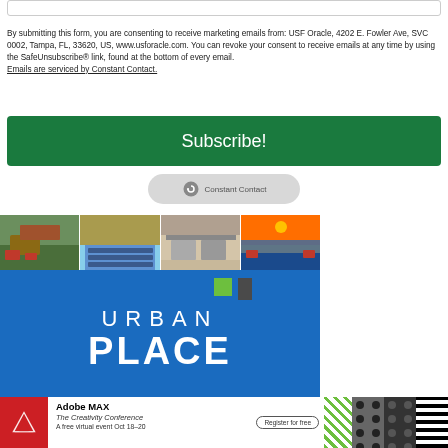[Figure (other): Empty form input bar at top of page]
By submitting this form, you are consenting to receive marketing emails from: USF Oracle, 4202 E. Fowler Ave, SVC 0002, Tampa, FL, 33620, US, www.usforacle.com. You can revoke your consent to receive emails at any time by using the SafeUnsubscribe® link, found at the bottom of every email. Emails are serviced by Constant Contact.
[Figure (other): Green Subscribe! button]
[Figure (logo): Constant Contact badge/logo button]
[Figure (photo): Urban Place advertisement banner with photo strip of property images at top and blue background with URBAN PLACE logo text below]
[Figure (other): Adobe MAX - The Creativity Conference advertisement banner at bottom. Red Adobe logo on left, title and subtitle text in middle, Register for free button, decorative pattern panels on right.]